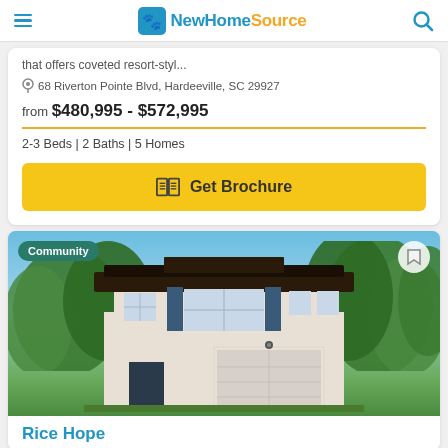NewHomeSource
that offers coveted resort-styl...
68 Riverton Pointe Blvd, Hardeeville, SC 29927
from $480,995 - $572,995
2-3 Beds | 2 Baths | 5 Homes
Get Brochure
[Figure (photo): Exterior photo of a two-story residential home with white/cream siding, dark roof, blue shutters, two-car garage, surrounded by trees under blue sky. Community badge in top-left corner, bookmark icon in top-right corner.]
Rice Hope